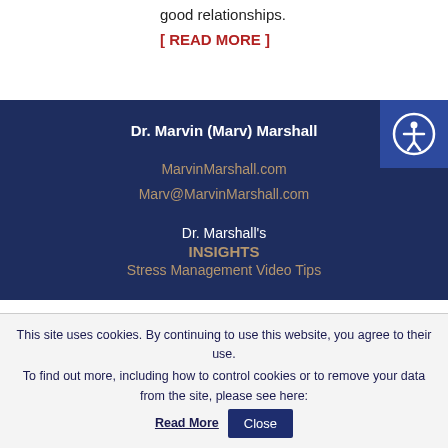good relationships.
[ READ MORE ]
Dr. Marvin (Marv) Marshall
MarvinMarshall.com
Marv@MarvinMarshall.com
Dr. Marshall's
INSIGHTS
Stress Management Video Tips
[Figure (illustration): Accessibility icon button — circular figure with arms outstretched inside a white circle on a blue square background]
This site uses cookies. By continuing to use this website, you agree to their use.
To find out more, including how to control cookies or to remove your data from the site, please see here: Read More
Close